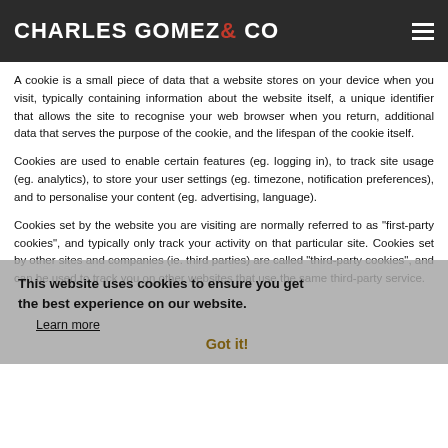CHARLES GOMEZ & CO
A cookie is a small piece of data that a website stores on your device when you visit, typically containing information about the website itself, a unique identifier that allows the site to recognise your web browser when you return, additional data that serves the purpose of the cookie, and the lifespan of the cookie itself.
Cookies are used to enable certain features (eg. logging in), to track site usage (eg. analytics), to store your user settings (eg. timezone, notification preferences), and to personalise your content (eg. advertising, language).
Cookies set by the website you are visiting are normally referred to as “first-party cookies”, and typically only track your activity on that particular site. Cookies set by other sites and companies (ie. third parties) are called “third-party cookies”, and can be used to track you on other websites that use the same third-party service.
This website uses cookies to ensure you get the best experience on our website.
Learn more
Got it!
Types of cookies and how we use them
Essential cookies
Essential cookies are crucial to your experience of a website, enabling core features like user logins, account management, shopping carts and